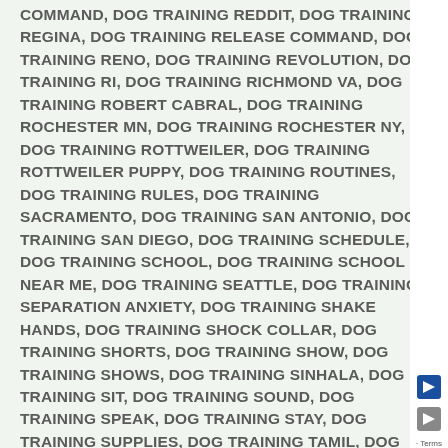COMMAND, DOG TRAINING REDDIT, DOG TRAINING REGINA, DOG TRAINING RELEASE COMMAND, DOG TRAINING RENO, DOG TRAINING REVOLUTION, DOG TRAINING RI, DOG TRAINING RICHMOND VA, DOG TRAINING ROBERT CABRAL, DOG TRAINING ROCHESTER MN, DOG TRAINING ROCHESTER NY, DOG TRAINING ROTTWEILER, DOG TRAINING ROTTWEILER PUPPY, DOG TRAINING ROUTINES, DOG TRAINING RULES, DOG TRAINING SACRAMENTO, DOG TRAINING SAN ANTONIO, DOG TRAINING SAN DIEGO, DOG TRAINING SCHEDULE, DOG TRAINING SCHOOL, DOG TRAINING SCHOOL NEAR ME, DOG TRAINING SEATTLE, DOG TRAINING SEPARATION ANXIETY, DOG TRAINING SHAKE HANDS, DOG TRAINING SHOCK COLLAR, DOG TRAINING SHORTS, DOG TRAINING SHOW, DOG TRAINING SHOWS, DOG TRAINING SINHALA, DOG TRAINING SIT, DOG TRAINING SOUND, DOG TRAINING SPEAK, DOG TRAINING STAY, DOG TRAINING SUPPLIES, DOG TRAINING TAMIL, DOG TRAINING TECHNIQUES, DOG TRAINING TELUGU, DOG TRAINING TIKTOK, DOG TRAINING TIPS, DOG TRAINING TO SIT, DOG TRAINING TO STOP BITING, DOG TRAINING TOILET, DOG TRAINING TOOLS, DOG TRAINING TORONTO, DOG